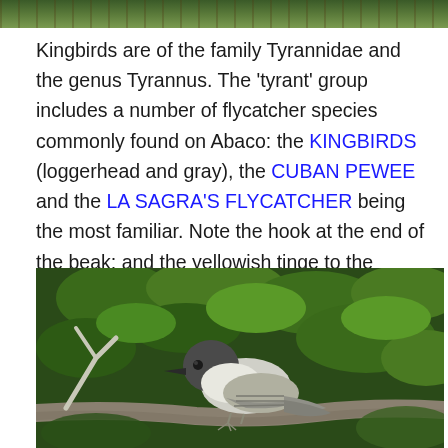[Figure (photo): Top portion of a nature/bird photograph showing green foliage]
Kingbirds are of the family Tyrannidae and the genus Tyrannus. The 'tyrant' group includes a number of flycatcher species commonly found on Abaco: the KINGBIRDS (loggerhead and gray), the CUBAN PEWEE and the LA SAGRA'S FLYCATCHER being the most familiar. Note the hook at the end of the beak; and the yellowish tinge to the undertail area.
[Figure (photo): Photograph of a gray kingbird perched on a branch with green foliage in the background]